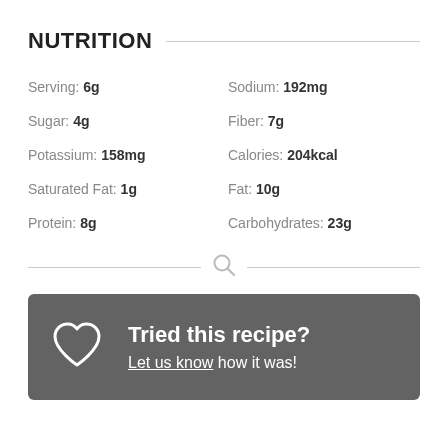NUTRITION
| Nutrient | Value | Nutrient | Value |
| --- | --- | --- | --- |
| Serving: | 6g | Sodium: | 192mg |
| Sugar: | 4g | Fiber: | 7g |
| Potassium: | 158mg | Calories: | 204kcal |
| Saturated Fat: | 1g | Fat: | 10g |
| Protein: | 8g | Carbohydrates: | 23g |
Tried this recipe? Let us know how it was!